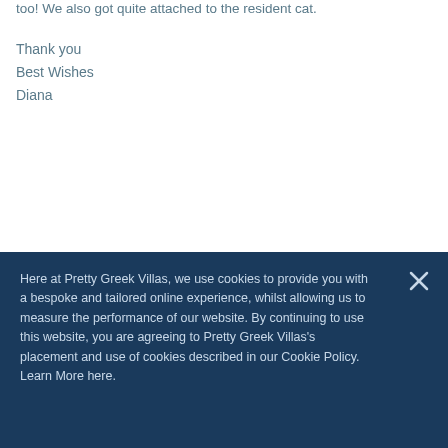too! We also got quite attached to the resident cat.
Thank you
Best Wishes
Diana
[Figure (illustration): Social media icons: Facebook, Twitter, Instagram, Pinterest in dark navy blue]
Here at Pretty Greek Villas, we use cookies to provide you with a bespoke and tailored online experience, whilst allowing us to measure the performance of our website. By continuing to use this website, you are agreeing to Pretty Greek Villas's placement and use of cookies described in our Cookie Policy. Learn More here.